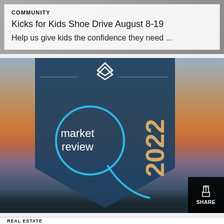[Figure (photo): Top portion of a community article card with blurred background image and white overlay containing text]
COMMUNITY
Kicks for Kids Shoe Drive August 8-19
Help us give kids the confidence they need ...
[Figure (photo): Q2 2022 Market Review promotional image with sunset lake background and dark blue pentagon/shield badge overlay showing 'Q2 market review 2022' with a real estate logo]
SHARE
REAL ESTATE